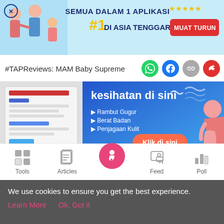[Figure (infographic): App advertisement banner: SEMUA DALAM 1 APLIKASI #1 DI ASIA TENGGARA with MUAT TURUN button, family illustration, star rating]
#TAPReviews: MAM Baby Supreme
[Figure (infographic): Health advertisement banner in Malay: kesihatan di sini, Rambut Gugur, Berat Badan, Penjagaan Kulit, Klik di sini button]
#TAPreviews: Effortless Beauty Lash Extension With Relaxing Head
[Figure (infographic): Bottom navigation bar with Tools, Articles, Home (center button), Feed, Poll icons]
We use cookies to ensure you get the best experience. Learn More   Ok, Got it